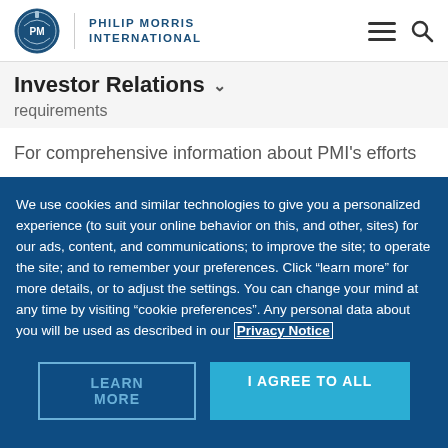PHILIP MORRIS INTERNATIONAL
Investor Relations
requirements
For comprehensive information about PMI's efforts
We use cookies and similar technologies to give you a personalized experience (to suit your online behavior on this, and other, sites) for our ads, content, and communications; to improve the site; to operate the site; and to remember your preferences. Click “learn more” for more details, or to adjust the settings. You can change your mind at any time by visiting “cookie preferences”. Any personal data about you will be used as described in our Privacy Notice
LEARN MORE | I AGREE TO ALL